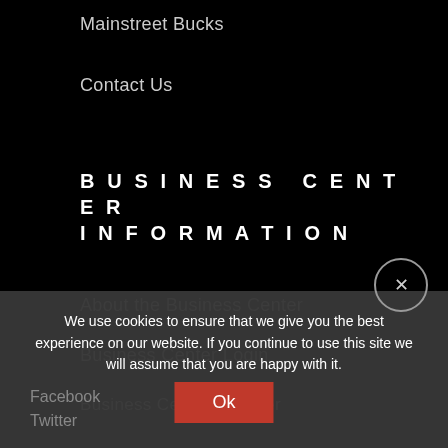Mainstreet Bucks
Contact Us
BUSINESS CENTER INFORMATION
About the Business Center
Business Center Login
Business Center Register
SOCIAL MEDIA
Facebook
Twitter
We use cookies to ensure that we give you the best experience on our website. If you continue to use this site we will assume that you are happy with it.
Ok